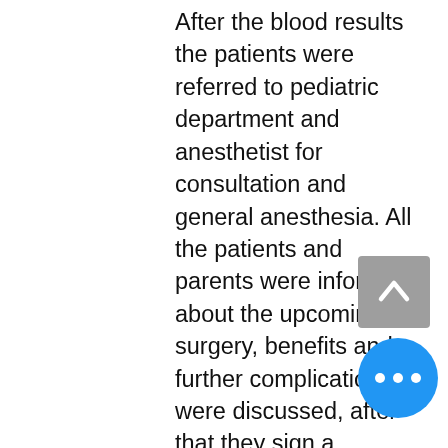After the blood results the patients were referred to pediatric department and anesthetist for consultation and general anesthesia. All the patients and parents were informed about the upcoming surgery, benefits and further complication were discussed, after that they sign a consent form. The conventional method includes extra capsular blunt dissection with bipolar diathermy for haemostasis. In the Ablation & Coagulation tonsillectomy we used PLA700 (by Mechan Europe) PLA401 wand for extracapsular dissection with also irrigation and haemostasis. We evaluate the objective and subjective complaints by using questionnaire form and visual analogue scale of Wong- Baker with facial expression, for both methods Ablation Coagulation - assisted tonsillectomy and conventional method 0- no hurt, 10 hurt
[Figure (other): Back-to-top scroll button (grey rounded rectangle with white upward chevron)]
[Figure (other): More options button (blue circle with three white dots)]